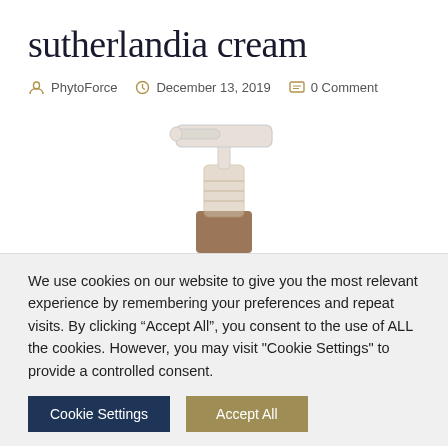sutherlandia cream
PhytoForce   December 13, 2019   0 Comment
[Figure (photo): Close-up of a white pump dispenser top on an amber glass bottle, cropped showing only the pump mechanism]
We use cookies on our website to give you the most relevant experience by remembering your preferences and repeat visits. By clicking “Accept All”, you consent to the use of ALL the cookies. However, you may visit “Cookie Settings” to provide a controlled consent.
Cookie Settings   Accept All